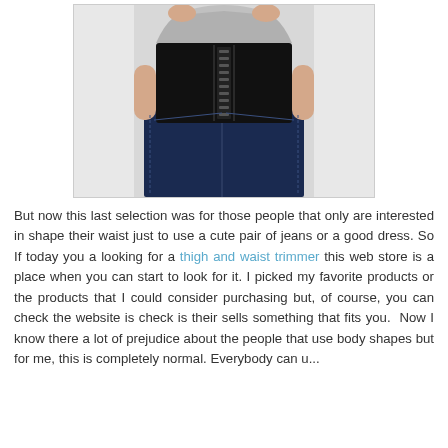[Figure (photo): A person wearing a black waist trainer/corset over a grey t-shirt with dark blue jeans. The image is cropped showing only the torso area. The waist trainer has hook-and-eye closures and boning on the front.]
But now this last selection was for those people that only are interested in shape their waist just to use a cute pair of jeans or a good dress. So If today you a looking for a thigh and waist trimmer this web store is a place when you can start to look for it. I picked my favorite products or the products that I could consider purchasing but, of course, you can check the website is check is their sells something that fits you.  Now I know there a lot of prejudice about the people that use body shapes but for me, this is completely normal. Everybody can u...